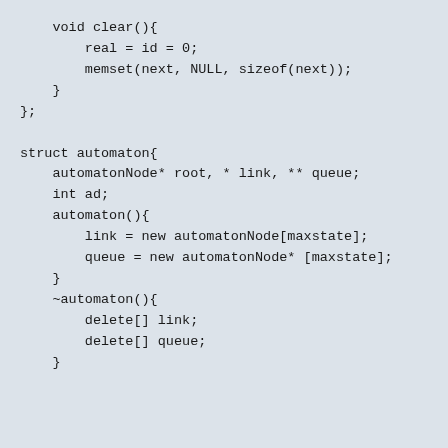void clear(){
        real = id = 0;
        memset(next, NULL, sizeof(next));
    }
};

struct automaton{
    automatonNode* root, * link, ** queue;
    int ad;
    automaton(){
        link = new automatonNode[maxstate];
        queue = new automatonNode* [maxstate];
    }
    ~automaton(){
        delete[] link;
        delete[] queue;
    }